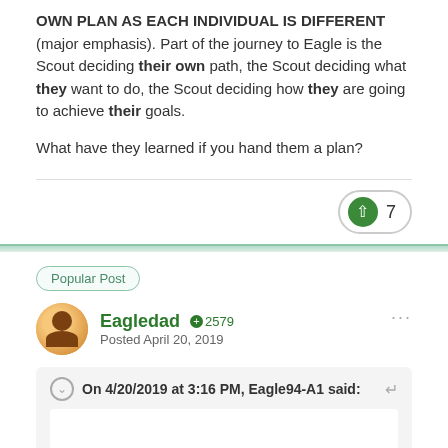OWN PLAN AS EACH INDIVIDUAL IS DIFFERENT (major emphasis). Part of the journey to Eagle is the Scout deciding their own path, the Scout deciding what they want to do, the Scout deciding how they are going to achieve their goals.
What have they learned if you hand them a plan?
Popular Post
Eagledad +2579 Posted April 20, 2019
On 4/20/2019 at 3:16 PM, Eagle94-A1 said:
I think this is a grave disservice to any of your girls, or any